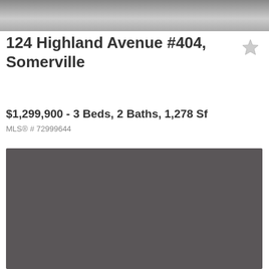[Figure (photo): Top portion of a property photo, partially visible at top of page]
124 Highland Avenue #404, Somerville
$1,299,900 - 3 Beds, 2 Baths, 1,278 Sf
MLS® # 72999644
[Figure (photo): Second property photo showing a gray/dark interior or exterior space]